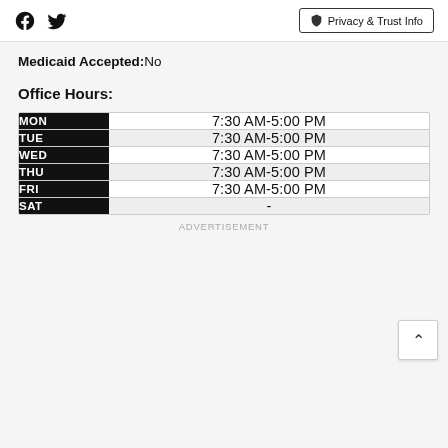Facebook Twitter | Privacy & Trust Info
Medicaid Accepted: No
Office Hours:
| Day | Hours |
| --- | --- |
| MON | 7:30 AM-5:00 PM |
| TUE | 7:30 AM-5:00 PM |
| WED | 7:30 AM-5:00 PM |
| THU | 7:30 AM-5:00 PM |
| FRI | 7:30 AM-5:00 PM |
| SAT | - |
ADVERTISEMENT